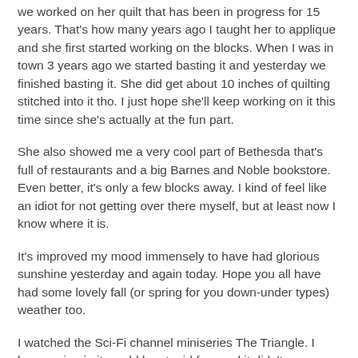we worked on her quilt that has been in progress for 15 years. That's how many years ago I taught her to applique and she first started working on the blocks. When I was in town 3 years ago we started basting it and yesterday we finished basting it. She did get about 10 inches of quilting stitched into it tho. I just hope she'll keep working on it this time since she's actually at the fun part.
She also showed me a very cool part of Bethesda that's full of restaurants and a big Barnes and Noble bookstore. Even better, it's only a few blocks away. I kind of feel like an idiot for not getting over there myself, but at least now I know where it is.
It's improved my mood immensely to have had glorious sunshine yesterday and again today. Hope you all have had some lovely fall (or spring for you down-under types) weather too.
I watched the Sci-Fi channel miniseries The Triangle. I knew going in it would be stupid fun, and it didn't disappoint. Gotta say the air turbulence and high seas were too realistic. I had